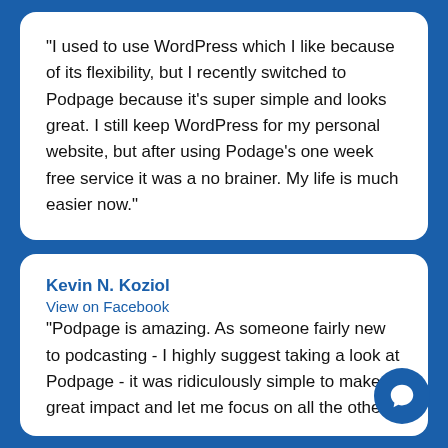"I used to use WordPress which I like because of its flexibility, but I recently switched to Podpage because it's super simple and looks great. I still keep WordPress for my personal website, but after using Podage's one week free service it was a no brainer. My life is much easier now."
Kevin N. Koziol
View on Facebook
"Podpage is amazing. As someone fairly new to podcasting - I highly suggest taking a look at Podpage - it was ridiculously simple to make a great impact and let me focus on all the other